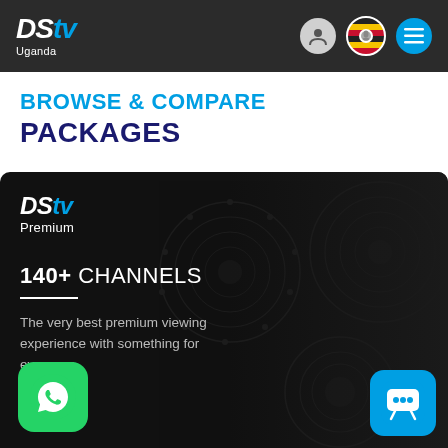DStv Uganda
BROWSE & COMPARE PACKAGES
[Figure (screenshot): DStv Premium package card on dark background with decorative circular patterns. Shows DStv Premium logo, '140+ CHANNELS', description text 'The very best premium viewing experience with something for everyone', WhatsApp button bottom left, chatbot icon bottom right, woman raising hand in background.]